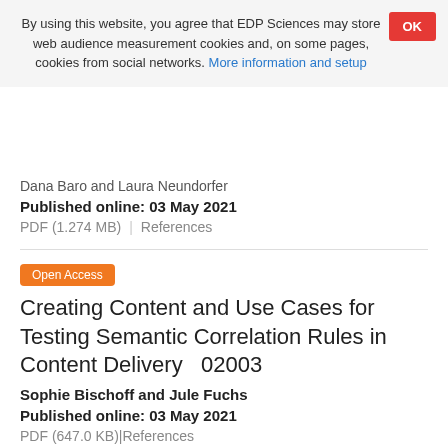By using this website, you agree that EDP Sciences may store web audience measurement cookies and, on some pages, cookies from social networks. More information and setup
OK
Dana Baro and Laura Neundorfer
Published online: 03 May 2021
PDF (1.274 MB)  |  References
Open Access
Creating Content and Use Cases for Testing Semantic Correlation Rules in Content Delivery   02003
Sophie Bischoff and Jule Fuchs
Published online: 03 May 2021
PDF (647.0 KB)  |  References
Open Access
Linguistic Approach to Semantic Correlation Rules